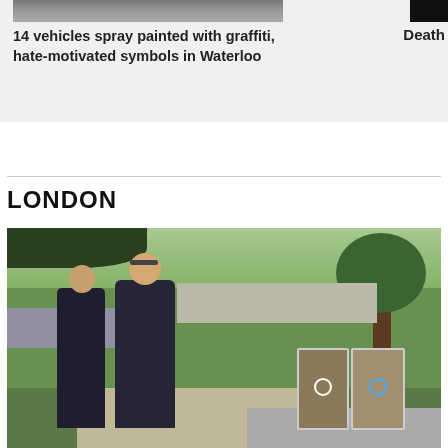[Figure (photo): Partial top image of trees/vehicles, cropped at top of page]
14 vehicles spray painted with graffiti, hate-motivated symbols in Waterloo
[Figure (photo): Partially visible image on right side, mostly black/dark]
Death
LONDON
[Figure (photo): Two people walking on a sidewalk in a park-like setting with trees and trash/recycling bins visible on the right side]